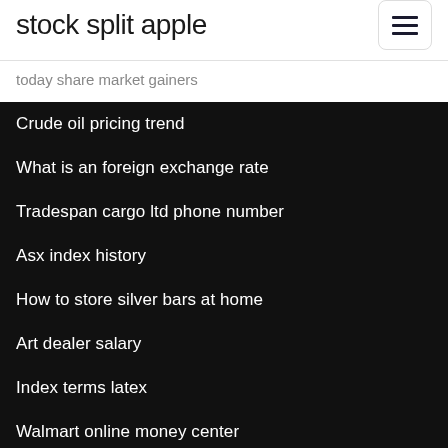stock split apple
today share market gainers
Crude oil pricing trend
What is an foreign exchange rate
Tradespan cargo ltd phone number
Asx index history
How to store silver bars at home
Art dealer salary
Index terms latex
Walmart online money center
Offline and online learning
Crude palm oil processing plant